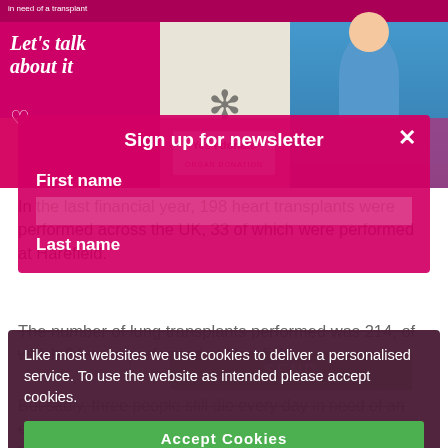[Figure (photo): NHS organ donation event photo showing a nurse in blue uniform standing behind a table with 'Yes I donate' organ donation signage, and a pink banner reading 'Let's talk about it' in the background]
Sign up for newsletter
First name
Last name
In the last financial year, 198 heart transplants were performed across the UK, 33 of which were performed at Harefield.
The number of lung transplants performed was 214, of which 64 were performed at Harefield.
But sadly, three people still die every day in need of an organ transplant, and the number of patients waiting for a transplant is increasing. A member of Transplant Coordination Team at Harefield explains:
Like most websites we use cookies to deliver a personalised service. To use the website as intended please accept cookies.
Accept Cookies